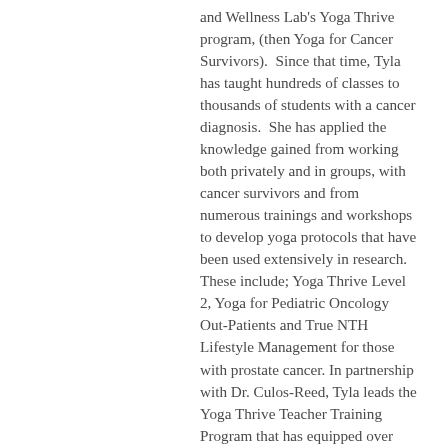and Wellness Lab's Yoga Thrive program, (then Yoga for Cancer Survivors).  Since that time, Tyla has taught hundreds of classes to thousands of students with a cancer diagnosis.  She has applied the knowledge gained from working both privately and in groups, with cancer survivors and from numerous trainings and workshops to develop yoga protocols that have been used extensively in research.  These include; Yoga Thrive Level 2, Yoga for Pediatric Oncology Out-Patients and True NTH Lifestyle Management for those with prostate cancer.  In partnership with Dr. Culos-Reed, Tyla leads the Yoga Thrive Teacher Training Program that has equipped over 150 certified yoga instructors throughout Canada and the U.S. with the skillset necessary to teach within the cancer community.  Along with training and mentoring many teachers through Yoga Thrive, Tyla also sits on the Yoga Therapy International faculty as a Resource Specialist Mentor and facilitates the Yoga for Cancer and Chronic Illness module for The Yoga Studio College of Canada's Gold Therapy Program.  She has recently teamed with The Yoga Therapy for Youth Foundation...